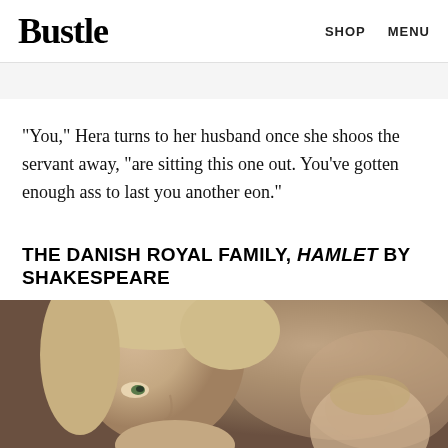Bustle | SHOP  MENU
"You," Hera turns to her husband once she shoos the servant away, "are sitting this one out. You've gotten enough ass to last you another eon."
THE DANISH ROYAL FAMILY, HAMLET BY SHAKESPEARE
[Figure (photo): Close-up photo of a blonde person looking to the side, with a blurred background]